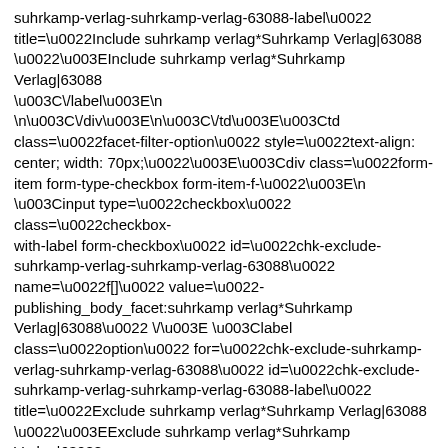suhrkamp-verlag-suhrkamp-verlag-63088-label\u0022
title=\u0022Include suhrkamp verlag*Suhrkamp Verlag|63088
\u0022\u003EInclude suhrkamp verlag*Suhrkamp Verlag|63088
\u003C\/label\u003E\n
\n\u003C\/div\u003E\n\u003C\/td\u003E\u003Ctd
class=\u0022facet-filter-option\u0022 style=\u0022text-align:
center; width: 70px;\u0022\u003E\u003Cdiv class=\u0022form-
item form-type-checkbox form-item-f-\u0022\u003E\n
\u003Cinput type=\u0022checkbox\u0022 class=\u0022checkbox-
with-label form-checkbox\u0022 id=\u0022chk-exclude-
suhrkamp-verlag-suhrkamp-verlag-63088\u0022
name=\u0022f[]\u0022 value=\u0022-
publishing_body_facet:suhrkamp verlag*Suhrkamp
Verlag|63088\u0022 \/\u003E \u003Clabel
class=\u0022option\u0022 for=\u0022chk-exclude-suhrkamp-
verlag-suhrkamp-verlag-63088\u0022 id=\u0022chk-exclude-
suhrkamp-verlag-suhrkamp-verlag-63088-label\u0022
title=\u0022Exclude suhrkamp verlag*Suhrkamp Verlag|63088
\u0022\u003EExclude suhrkamp verlag*Suhrkamp Verlag|63088
\u003C\/label\u003E\n
\n\u003C\/div\u003E\n\u003C\/td\u003E\u003Ctd\u003ESuhrkamp
Verlag (65)\u003C\/td\u003E \u003C\/tr\u003E\n \u003Ctr
class=\u0022even\u0022\u003E\u003Ctd class=\u0022facet-filter-
option\u0022 style=\u0022text-align: center; width:
70px;\u0022\u003E\u003Cdiv class=\u0022form-item form-type-
checkbox form-item-f-1-\u0022\u003E\u003C\/\u003E...